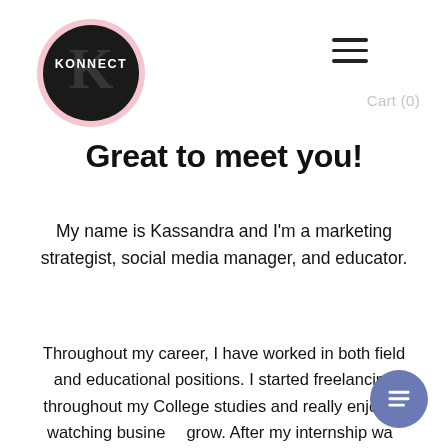[Figure (logo): KONNECT brand logo: dark circular badge with pink outline border, white text 'KONNECT' and large decorative K lettermark in center]
[Figure (illustration): Hamburger menu icon: three horizontal dark lines]
Cart (0)
Great to meet you!
My name is Kassandra and I'm a marketing strategist, social media manager, and educator.
Throughout my career, I have worked in both field and educational positions. I started freelancing throughout my College studies and really enjoyed watching businesses grow. After my internship was complete, I decided to just go for it
[Figure (illustration): Blue/purple circular chat button with list/menu icon in white]